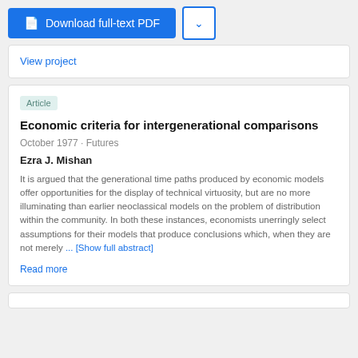[Figure (screenshot): Download full-text PDF button (blue) and dropdown button (white with blue border)]
View project
Article
Economic criteria for intergenerational comparisons
October 1977 · Futures
Ezra J. Mishan
It is argued that the generational time paths produced by economic models offer opportunities for the display of technical virtuosity, but are no more illuminating than earlier neoclassical models on the problem of distribution within the community. In both these instances, economists unerringly select assumptions for their models that produce conclusions which, when they are not merely ... [Show full abstract]
Read more